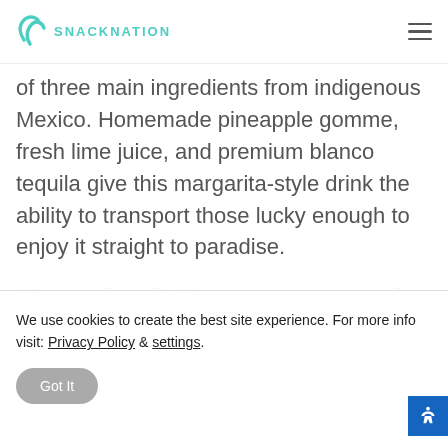SNACKNATION
of three main ingredients from indigenous Mexico. Homemade pineapple gomme, fresh lime juice, and premium blanco tequila give this margarita-style drink the ability to transport those lucky enough to enjoy it straight to paradise.
Why we love it: This sweet variation of the margarita is an excellent pre-made cocktail for professionals to enjoy during a nice happy hour at
We use cookies to create the best site experience. For more info visit: Privacy Policy & settings.